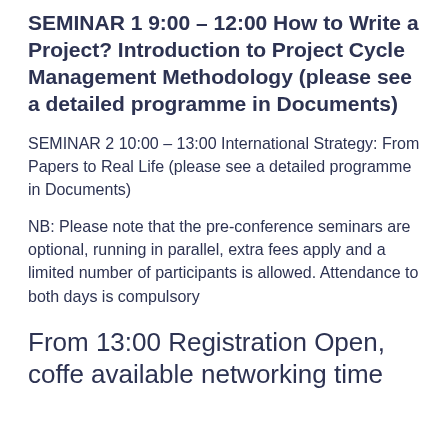SEMINAR 1 9:00 – 12:00 How to Write a Project? Introduction to Project Cycle Management Methodology (please see a detailed programme in Documents)
SEMINAR 2 10:00 – 13:00 International Strategy: From Papers to Real Life (please see a detailed programme in Documents)
NB: Please note that the pre-conference seminars are optional, running in parallel, extra fees apply and a limited number of participants is allowed. Attendance to both days is compulsory
From 13:00 Registration Open, coffe available networking time